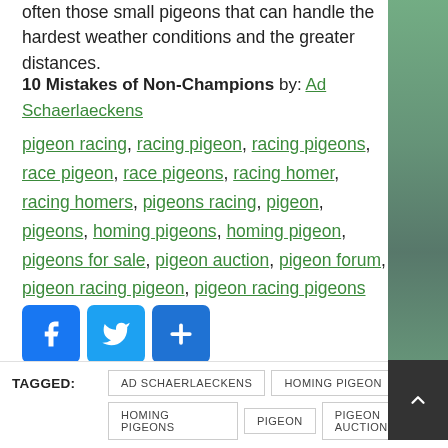often those small pigeons that can handle the hardest weather conditions and the greater distances.
10 Mistakes of Non-Champions by: Ad Schaerlaeckens
pigeon racing, racing pigeon, racing pigeons, race pigeon, race pigeons, racing homer, racing homers, pigeons racing, pigeon, pigeons, homing pigeons, homing pigeon, pigeons for sale, pigeon auction, pigeon forum, pigeon racing pigeon, pigeon racing pigeons
[Figure (other): Social share buttons: Facebook, Twitter, and a generic share/plus button]
TAGGED: AD SCHAERLAECKENS, HOMING PIGEON, HOMING PIGEONS, PIGEON, PIGEON AUCTION